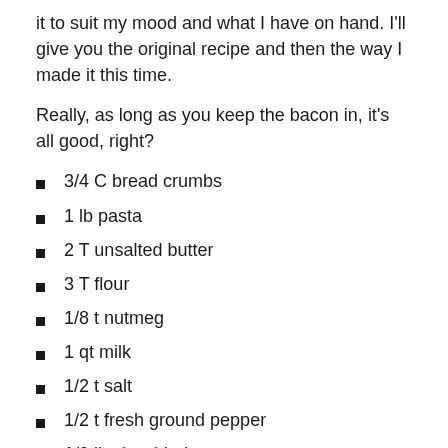it to suit my mood and what I have on hand. I'll give you the original recipe and then the way I made it this time.
Really, as long as you keep the bacon in, it's all good, right?
3/4 C bread crumbs
1 lb pasta
2 T unsalted butter
3 T flour
1/8 t nutmeg
1 qt milk
1/2 t salt
1/2 t fresh ground pepper
1/2 lb shredded gruyere
1/2 lb Velveeta
1 lb bacon, cooked and crumbled
2 ripe tomatoes, diced